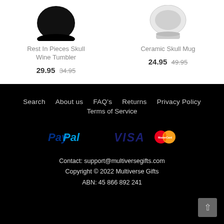Rest In Pieces Skull Wine Tumbler
29.95 34.95
Ceramic Skull Mug
24.95 49.95
Search   About us   FAQ's   Returns   Privacy Policy   Terms of Service
[Figure (logo): PayPal, VISA, and MasterCard payment icons]
Contact: support@multiversegifts.com
Copyright © 2022 Multiverse Gifts
ABN: 45 866 892 241